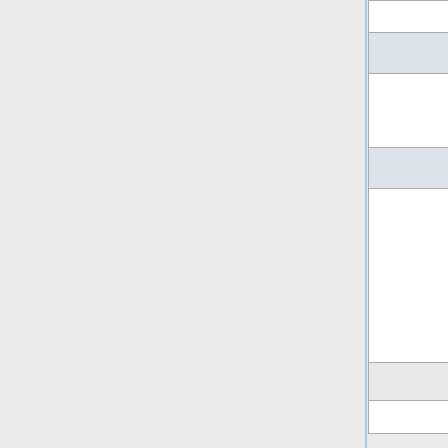| Problem | Solution |
| --- | --- |
|  | Eccentric Weights |
| Transition Lines Between Main and Extensions |  |
| Extensions set too High or Low | Adjust Height of Extensions |
| Extension Area With Voids |  |
| Extension Starved for Material | Install Additional Augers and Guards for Constant Extended Width – Use Kick-out Paddles for Variable Extended Widths |
| Problem | Solution |
| --- | --- |
| Bright Streak Down Center of Mat |  |
| Too Much Lead | Make Necessary |